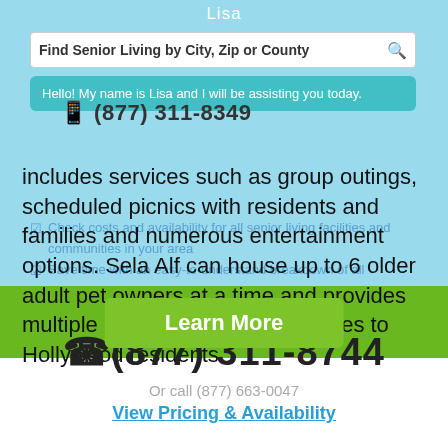Lisa
Find Senior Living by City, Zip or County
Hello! My name is Lisa and I will be assisting you today.
(877) 311-8349
includes services such as group outings, scheduled picnics with residents and families and numerous entertainment options. Sela Alf can house up to 6 older adult pet owners at a time and provides multiple pet amenities and services to Hollywood residents.
Check costs and availability for all senior living facilities and communities in your area
Save time with an easy-to-understand breakdown of all services, amenities and fees
Find the assisted living facility or community that is perfect for you
(877) 311-8744
Yes, I want to see pricing!
Learn More
Or call (877) 663-0047
View Pricing & Availability